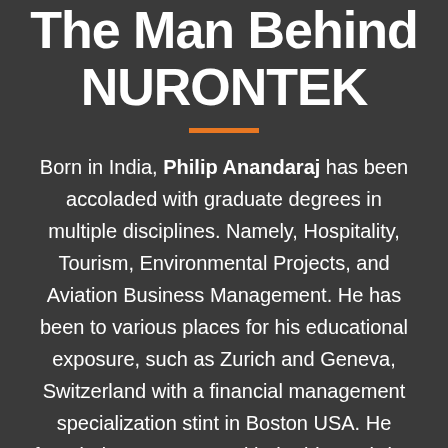The Man Behind NURONTEK
Born in India, Philip Anandaraj has been accoladed with graduate degrees in multiple disciplines. Namely, Hospitality, Tourism, Environmental Projects, and Aviation Business Management. He has been to various places for his educational exposure, such as Zurich and Geneva, Switzerland with a financial management specialization stint in Boston USA. He founded NURONTEK with the idea to bring the best output from the